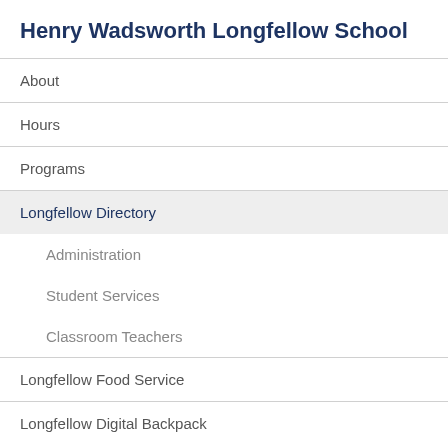Henry Wadsworth Longfellow School
About
Hours
Programs
Longfellow Directory
Administration
Student Services
Classroom Teachers
Longfellow Food Service
Longfellow Digital Backpack